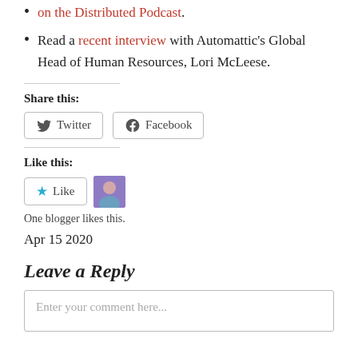on the Distributed Podcast.
Read a recent interview with Automattic's Global Head of Human Resources, Lori McLeese.
Share this:
Twitter  Facebook
Like this:
Like  One blogger likes this.
Apr 15 2020
Leave a Reply
Enter your comment here...